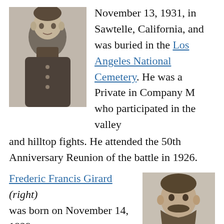[Figure (photo): Black and white portrait photograph of a young man in dark clothing, top-left of page]
November 13, 1931, in Sawtelle, California, and was buried in the Los Angeles National Cemetery. He was a Private in Company M who participated in the valley and hilltop fights. He attended the 50th Anniversary Reunion of the battle in 1926.
Frederic Francis Girard (right) was born on November 14, 1829, in St. Louis, St. Louis County, Missouri. He was an Interpreter on the Quartermaster staff who went missing during the valley fight on June 25, 1876. He rejoined the soldiers on Reno Hill on June 26.
[Figure (photo): Black and white portrait photograph of a bearded man, right side of lower section]